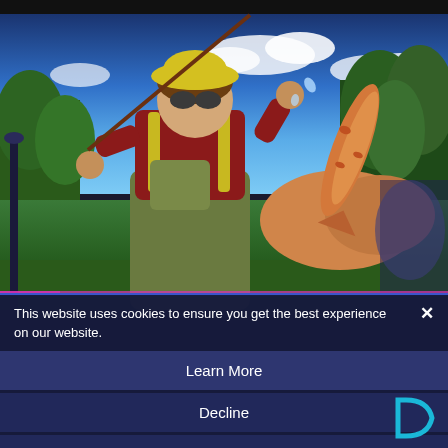[Figure (screenshot): Screenshot of The Sims 4 game showing a male Sim character wearing a yellow bucket hat, sunglasses, red plaid shirt, and olive green fishing waders with a chest pack, holding a long spotted fish and a fishing rod, set against a colorful outdoor background with trees, rocks, and blue sky with clouds.]
This website uses cookies to ensure you get the best experience on our website.
Learn More
Decline
Allow All